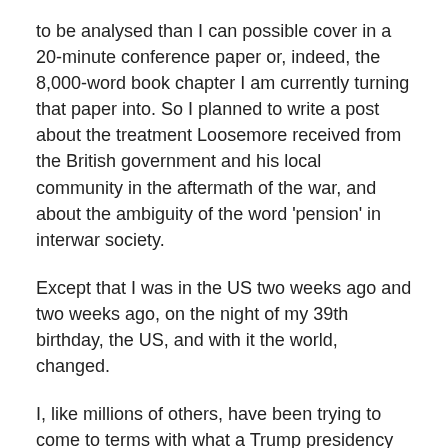to be analysed than I can possible cover in a 20-minute conference paper or, indeed, the 8,000-word book chapter I am currently turning that paper into.  So I planned to write a post about the treatment Loosemore received from the British government and his local community in the aftermath of the war, and about the ambiguity of the word 'pension' in interwar society.
Except that I was in the US two weeks ago and two weeks ago, on the night of my 39th birthday, the US, and with it the world, changed.
I, like millions of others, have been trying to come to terms with what a Trump presidency will mean for me, for those I love, for the communities I was raised and live in, for those I work alongside, for my fellow countrymen and women, for my fellow citizens of the world.  But doing so is